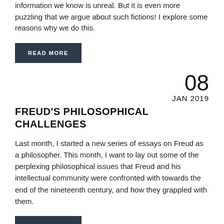information we know is unreal. But it is even more puzzling that we argue about such fictions! I explore some reasons why we do this.
READ MORE
08
JAN 2019
FREUD'S PHILOSOPHICAL CHALLENGES
Last month, I started a new series of essays on Freud as a philosopher. This month, I want to lay out some of the perplexing philosophical issues that Freud and his intellectual community were confronted with towards the end of the nineteenth century, and how they grappled with them.
READ MORE
10
AUG 2018
A PUZZLE ABOUT CONSPIRACY THEORISTS (PART I)